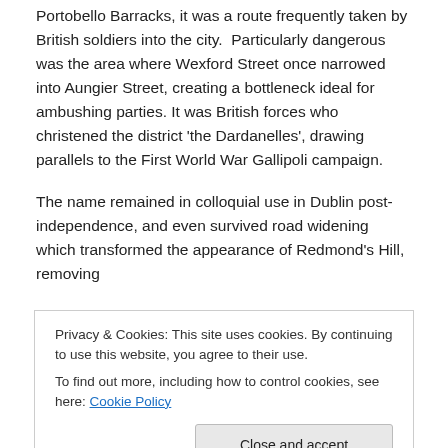Portobello Barracks, it was a route frequently taken by British soldiers into the city.  Particularly dangerous was the area where Wexford Street once narrowed into Aungier Street, creating a bottleneck ideal for ambushing parties. It was British forces who christened the district 'the Dardanelles', drawing parallels to the First World War Gallipoli campaign.
The name remained in colloquial use in Dublin post-independence, and even survived road widening which transformed the appearance of Redmond's Hill, removing
Privacy & Cookies: This site uses cookies. By continuing to use this website, you agree to their use.
To find out more, including how to control cookies, see here: Cookie Policy
[Close and accept]
[Figure (photo): Partial view of a historical image or map with golden/brown tones at the bottom of the page]